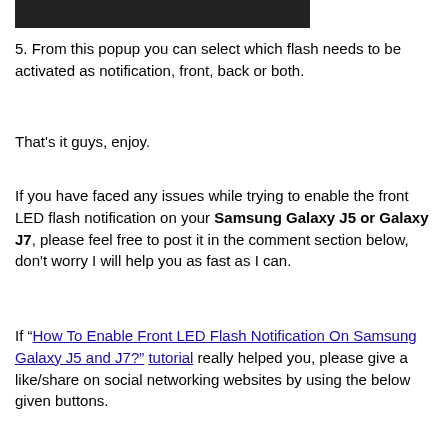[Figure (screenshot): Dark banner/screenshot image at the top of the page]
5. From this popup you can select which flash needs to be activated as notification, front, back or both.
That's it guys, enjoy.
If you have faced any issues while trying to enable the front LED flash notification on your Samsung Galaxy J5 or Galaxy J7, please feel free to post it in the comment section below, don't worry I will help you as fast as I can.
If “How To Enable Front LED Flash Notification On Samsung Galaxy J5 and J7?” tutorial really helped you, please give a like/share on social networking websites by using the below given buttons.